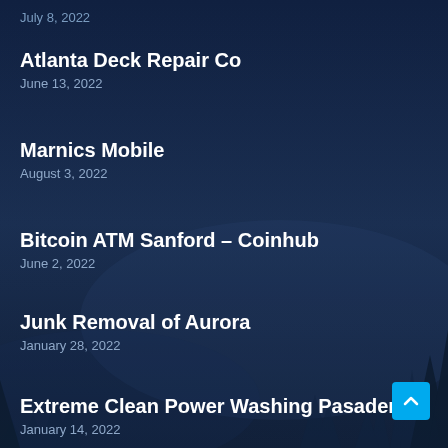July 8, 2022
Atlanta Deck Repair Co
June 13, 2022
Marnics Mobile
August 3, 2022
Bitcoin ATM Sanford – Coinhub
June 2, 2022
Junk Removal of Aurora
January 28, 2022
Extreme Clean Power Washing Pasadena
January 14, 2022